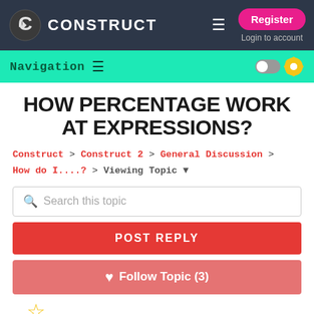Construct | Register | Login to account
Navigation
HOW PERCENTAGE WORK AT EXPRESSIONS?
Construct > Construct 2 > General Discussion > How do I....? > Viewing Topic
Search this topic
POST REPLY
♥ Follow Topic (3)
0 favourites   11 posts